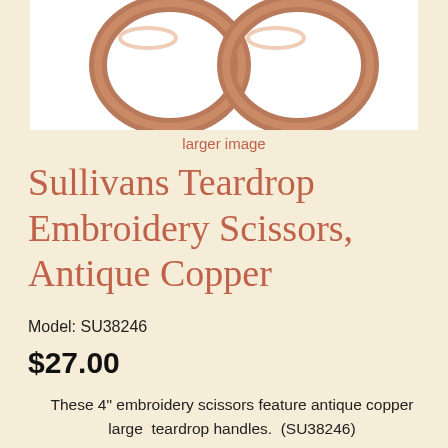[Figure (photo): Close-up photo of two antique copper teardrop-shaped embroidery scissor handles/rings against a white background]
larger image
Sullivans Teardrop Embroidery Scissors, Antique Copper
Model: SU38246
$27.00
These 4" embroidery scissors feature antique copper large  teardrop handles.  (SU38246)